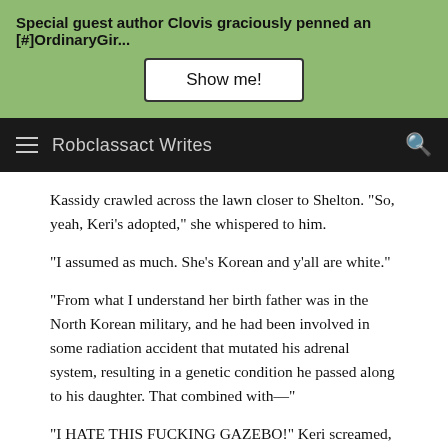Special guest author Clovis graciously penned an [#]OrdinaryGir...
Show me!
Robclassact Writes
Kassidy crawled across the lawn closer to Shelton. "So, yeah, Keri's adopted," she whispered to him.
"I assumed as much. She's Korean and y'all are white."
"From what I understand her birth father was in the North Korean military, and he had been involved in some radiation accident that mutated his adrenal system, resulting in a genetic condition he passed along to his daughter. That combined with—"
"I HATE THIS FUCKING GAZEBO!" Keri screamed, bringing her fists down on the wooden structure, instantly